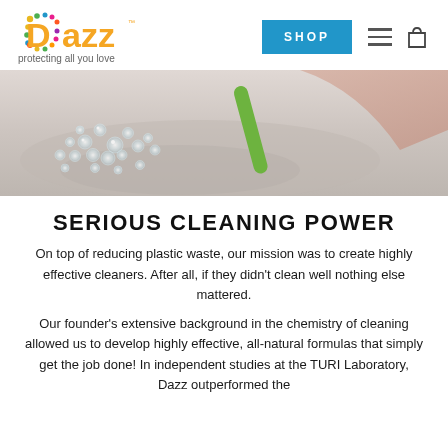[Figure (logo): Dazz brand logo with colorful dots forming a 'D' shape and orange 'azz' text, tagline 'protecting all you love']
[Figure (photo): Close-up photo of sparkling/crystalline cleaning product being poured onto a surface, showing bubbles and cleaning action]
SERIOUS CLEANING POWER
On top of reducing plastic waste, our mission was to create highly effective cleaners. After all, if they didn't clean well nothing else mattered.
Our founder's extensive background in the chemistry of cleaning allowed us to develop highly effective, all-natural formulas that simply get the job done! In independent studies at the TURI Laboratory, Dazz outperformed the